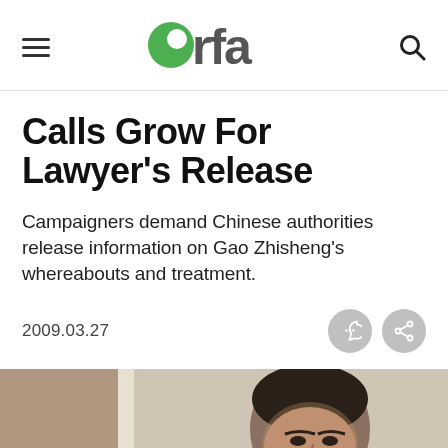rfa
Calls Grow For Lawyer's Release
Campaigners demand Chinese authorities release information on Gao Zhisheng's whereabouts and treatment.
2009.03.27
[Figure (photo): Photo of Gao Zhisheng, a Chinese man in a light-colored shirt, partially visible from the shoulders up, photographed indoors]